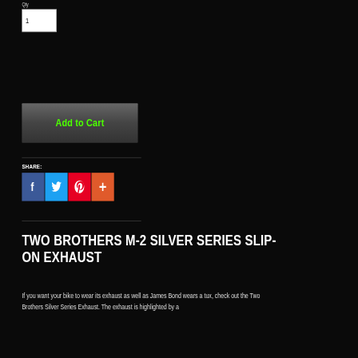Qty
1
Add to Cart
SHARE:
[Figure (infographic): Social share icons: Facebook (blue), Twitter (blue), Pinterest (red), More/Plus (orange-red)]
TWO BROTHERS M-2 SILVER SERIES SLIP-ON EXHAUST
If you want your bike to wear its exhaust as well as James Bond wears a tux, check out the Two Brothers Silver Series Exhaust. The exhaust is highlighted by a